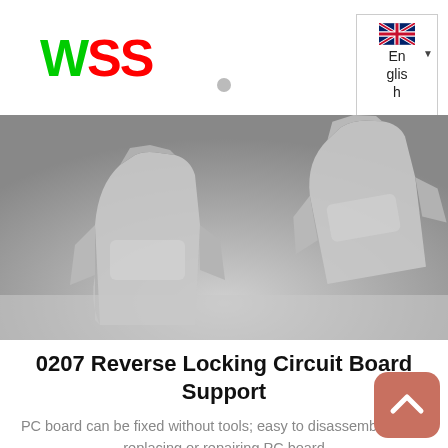[Figure (logo): WSS logo in green and red text]
[Figure (photo): Product photo of plastic circuit board support clips on grey background]
0207 Reverse Locking Circuit Board Support
PC board can be fixed without tools; easy to disassemble when replacing or repairing PC board
DETAILS